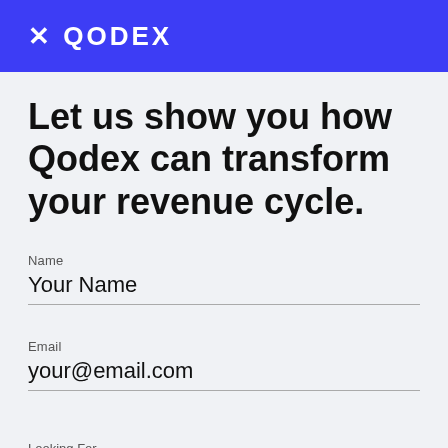✕ QODEX
Let us show you how Qodex can transform your revenue cycle.
Name
Your Name
Email
your@email.com
Looking For